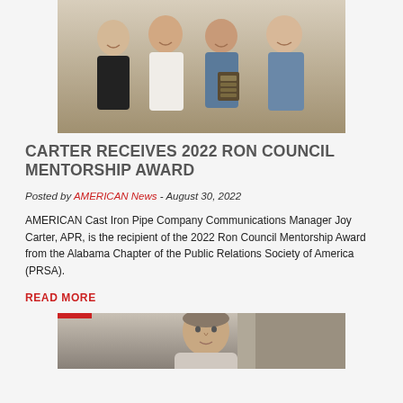[Figure (photo): Group photo of four people smiling, one holding a plaque award]
CARTER RECEIVES 2022 RON COUNCIL MENTORSHIP AWARD
Posted by AMERICAN News - August 30, 2022
AMERICAN Cast Iron Pipe Company Communications Manager Joy Carter, APR, is the recipient of the 2022 Ron Council Mentorship Award from the Alabama Chapter of the Public Relations Society of America (PRSA).
READ MORE
[Figure (photo): Portrait photo of a man outdoors]